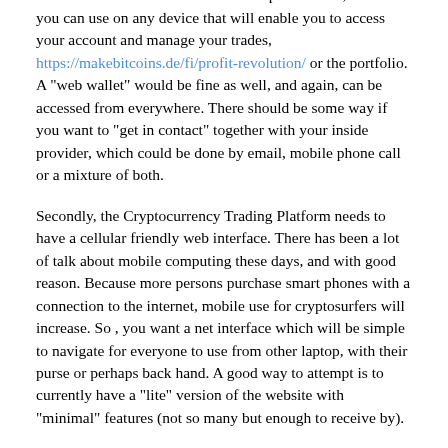account. At this time there should also be considered a mobile software available for mobile phone users, which you can use on any device that will enable you to access your account and manage your trades, https://makebitcoins.de/fi/profit-revolution/ or the portfolio. A "web wallet" would be fine as well, and again, can be accessed from everywhere. There should be some way if you want to "get in contact" together with your inside provider, which could be done by email, mobile phone call or a mixture of both.
Secondly, the Cryptocurrency Trading Platform needs to have a cellular friendly web interface. There has been a lot of talk about mobile computing these days, and with good reason. Because more persons purchase smart phones with a connection to the internet, mobile use for cryptosurfers will increase. So , you want a net interface which will be simple to navigate for everyone to use from other laptop, with their purse or perhaps back hand. A good way to attempt is to currently have a "lite" version of the website with "minimal" features (not so many but enough to receive by).
Thirdly, there should be a mobile phone app offered through a distributor so that will allow you to check and...